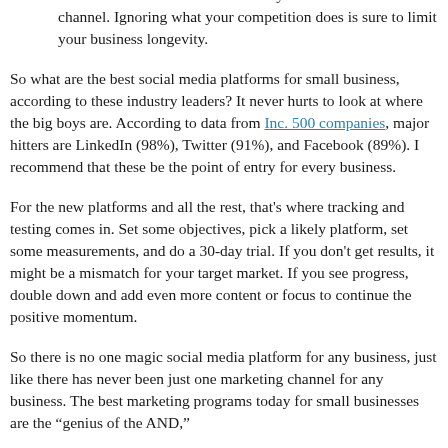was a 56% year-over-year increase. Almost 40% of small businesses that sell on Facebook say it is their sole sales channel. Ignoring what your competition does is sure to limit your business longevity.
So what are the best social media platforms for small business, according to these industry leaders? It never hurts to look at where the big boys are. According to data from Inc. 500 companies, major hitters are LinkedIn (98%), Twitter (91%), and Facebook (89%). I recommend that these be the point of entry for every business.
For the new platforms and all the rest, that's where tracking and testing comes in. Set some objectives, pick a likely platform, set some measurements, and do a 30-day trial. If you don't get results, it might be a mismatch for your target market. If you see progress, double down and add even more content or focus to continue the positive momentum.
So there is no one magic social media platform for any business, just like there has never been just one marketing channel for any business. The best marketing programs today for small businesses are the “genius of the AND,”